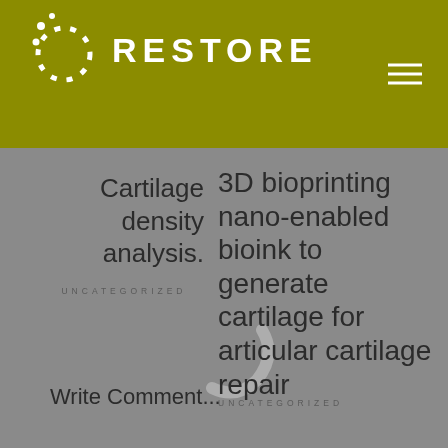RESTORE
Cartilage density analysis.
UNCATEGORIZED
3D bioprinting nano-enabled bioink to generate cartilage for articular cartilage repair
UNCATEGORIZED
Write Comment...